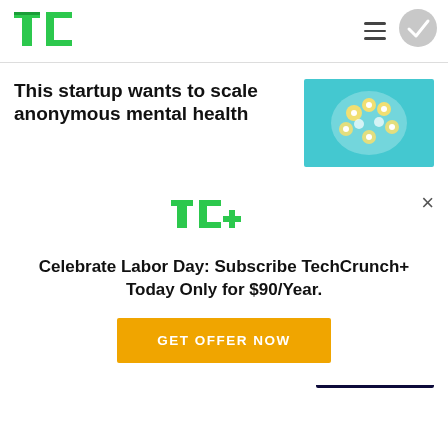[Figure (logo): TechCrunch TC green logo in header]
This startup wants to scale anonymous mental health
[Figure (photo): Colorful floral/nature image for mental health article]
[Figure (logo): TC+ TechCrunch Plus green logo in modal popup]
Celebrate Labor Day: Subscribe TechCrunch+ Today Only for $90/Year.
GET OFFER NOW
Sessions: Crypto passes!
Lauren Simonds
6:25 PM UTC • September 2, 2022
[Figure (screenshot): TC Sessions Crypto event dark blue promotional image]